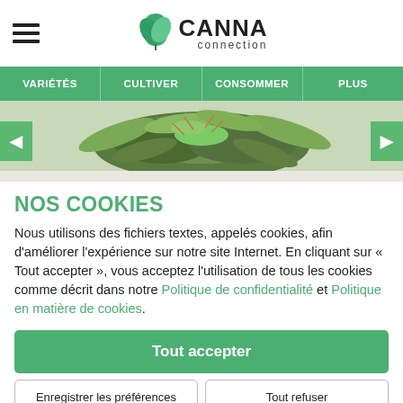[Figure (logo): Canna Connection logo with green cannabis leaf icon and text 'CANNA connection']
VARIÉTÉS | CULTIVER | CONSOMMER | PLUS
[Figure (photo): Close-up photo of a cannabis bud with green leaves on a light background, with left and right navigation arrows]
NOS COOKIES
Nous utilisons des fichiers textes, appelés cookies, afin d'améliorer l'expérience sur notre site Internet. En cliquant sur « Tout accepter », vous acceptez l'utilisation de tous les cookies comme décrit dans notre Politique de confidentialité et Politique en matière de cookies.
Tout accepter
Enregistrer les préférences | Tout refuser